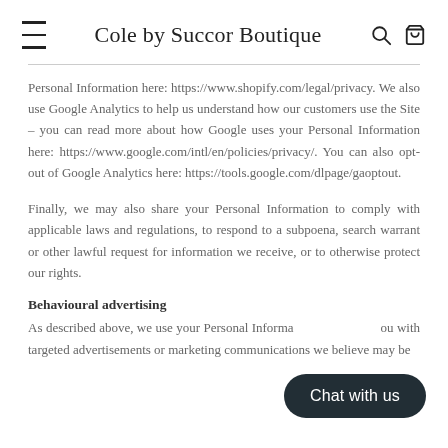Cole by Succor Boutique
Personal Information here: https://www.shopify.com/legal/privacy. We also use Google Analytics to help us understand how our customers use the Site – you can read more about how Google uses your Personal Information here: https://www.google.com/intl/en/policies/privacy/. You can also opt-out of Google Analytics here: https://tools.google.com/dlpage/gaoptout.
Finally, we may also share your Personal Information to comply with applicable laws and regulations, to respond to a subpoena, search warrant or other lawful request for information we receive, or to otherwise protect our rights.
Behavioural advertising
As described above, we use your Personal Information to provide you with targeted advertisements or marketing communications we believe may be